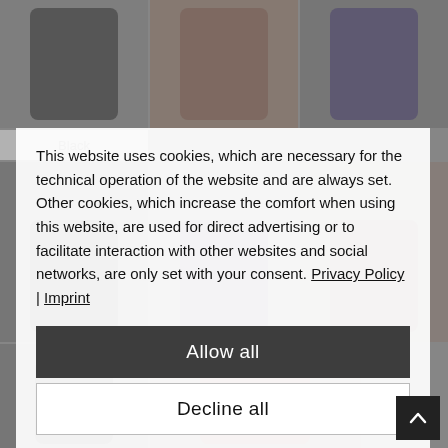[Figure (screenshot): Background showing a product page with phone cases in a grid layout, partially obscured by a cookie consent overlay. Products visible include phone cases in black, brown/cognac, and dark colors arranged in a 3-column grid.]
This website uses cookies, which are necessary for the technical operation of the website and are always set. Other cookies, which increase the comfort when using this website, are used for direct advertising or to facilitate interaction with other websites and social networks, are only set with your consent. Privacy Policy | Imprint
Allow all
Decline all
Cookie preferences